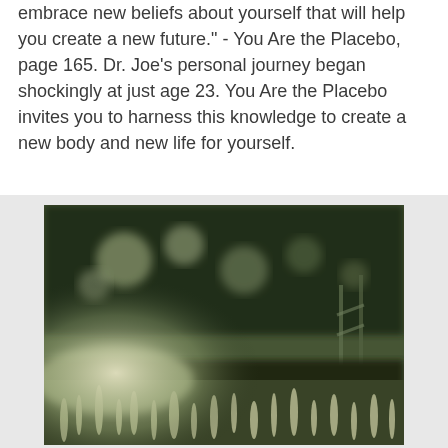embrace new beliefs about yourself that will help you create a new future." - You Are the Placebo, page 165. Dr. Joe's personal journey began shockingly at just age 23. You Are the Placebo invites you to harness this knowledge to create a new body and new life for yourself.
[Figure (photo): A blurry outdoor photograph showing grass in the foreground with dark trees and bokeh light effects in the background. The image has a vintage, desaturated green-brown tone.]